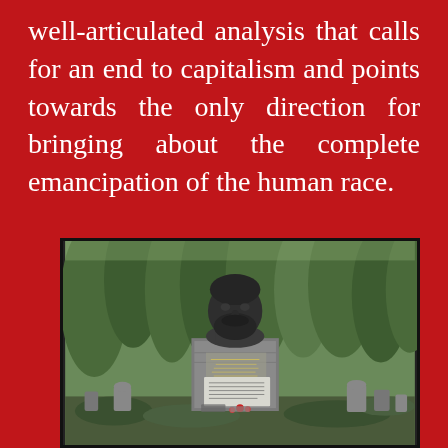well-articulated analysis that calls for an end to capitalism and points towards the only direction for bringing about the complete emancipation of the human race.
[Figure (photo): A photograph of the Karl Marx memorial grave monument at Highgate Cemetery, featuring a large bronze bust of Karl Marx on top of a granite pedestal with inscriptions, surrounded by trees and foliage.]